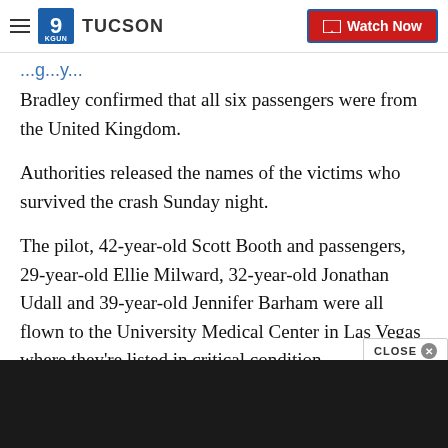TUCSON | Watch Now
Bradley confirmed that all six passengers were from the United Kingdom.
Authorities released the names of the victims who survived the crash Sunday night.
The pilot, 42-year-old Scott Booth and passengers, 29-year-old Ellie Milward, 32-year-old Jonathan Udall and 39-year-old Jennifer Barham were all flown to the University Medical Center in Las Vegas where they're listed in critical condition.